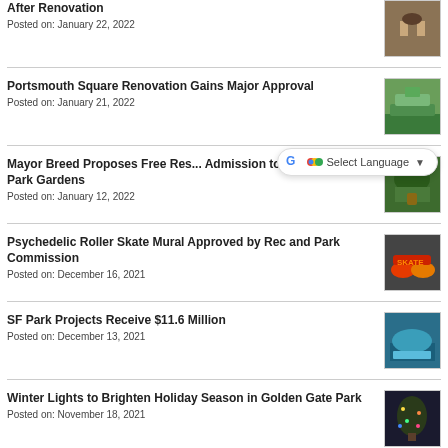After Renovation (partial)
Posted on: January 22, 2022
Portsmouth Square Renovation Gains Major Approval
Posted on: January 21, 2022
Mayor Breed Proposes Free Res... Admission to Golden Gate Park Gardens
Posted on: January 12, 2022
Psychedelic Roller Skate Mural Approved by Rec and Park Commission
Posted on: December 16, 2021
SF Park Projects Receive $11.6 Million
Posted on: December 13, 2021
Winter Lights to Brighten Holiday Season in Golden Gate Park
Posted on: November 18, 2021